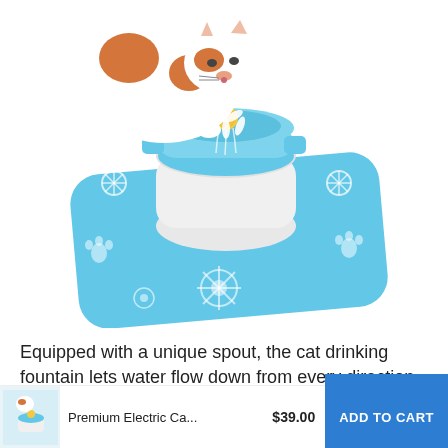[Figure (photo): A calico cat drinking from a blue electric pet water fountain placed on a blue silicone mat with white floral and paw print patterns. The fountain has a white base with a blue top and a yellow flower-shaped spout.]
Equipped with a unique spout, the cat drinking fountain lets water flow down from every direction
[Figure (photo): Small thumbnail image of the premium electric cat water fountain]
Premium Electric Ca... $39.00
ADD TO CART